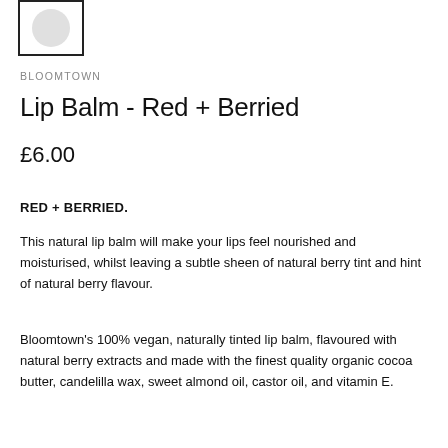[Figure (logo): Small square logo box with a circular grey icon inside]
BLOOMTOWN
Lip Balm - Red + Berried
£6.00
RED + BERRIED.
This natural lip balm will make your lips feel nourished and moisturised, whilst leaving a subtle sheen of natural berry tint and hint of natural berry flavour.
Bloomtown's 100% vegan, naturally tinted lip balm, flavoured with natural berry extracts and made with the finest quality organic cocoa butter, candelilla wax, sweet almond oil, castor oil, and vitamin E.